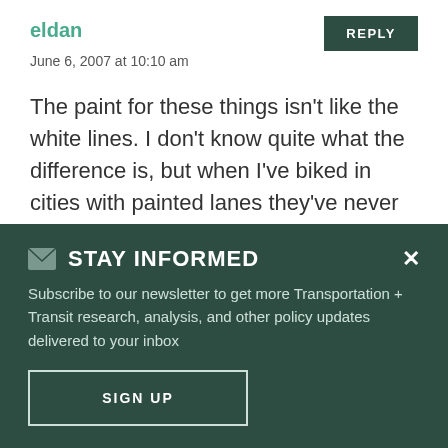eldan
June 6, 2007 at 10:10 am
The paint for these things isn't like the white lines. I don't know quite what the difference is, but when I've biked in cities with painted lanes they've never been slippery.
Kade
STAY INFORMED
Subscribe to our newsletter to get more Transportation + Transit research, analysis, and other policy updates delivered to your inbox
SIGN UP